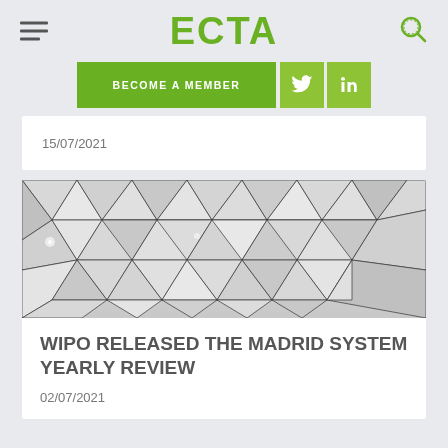ECTA
BECOME A MEMBER
15/07/2021
[Figure (illustration): Abstract geometric triangular 3D panel pattern in white/grey tones, low-poly style architectural rendering]
WIPO RELEASED THE MADRID SYSTEM YEARLY REVIEW
02/07/2021